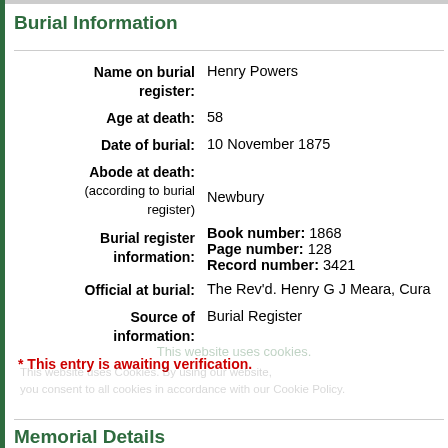Burial Information
| Field | Value |
| --- | --- |
| Name on burial register: | Henry Powers |
| Age at death: | 58 |
| Date of burial: | 10 November 1875 |
| Abode at death: (according to burial register) | Newbury |
| Burial register information: | Book number: 1868
Page number: 128
Record number: 3421 |
| Official at burial: | The Rev'd. Henry G J Meara, Cura |
| Source of information: | Burial Register |
* This entry is awaiting verification.
Memorial Details